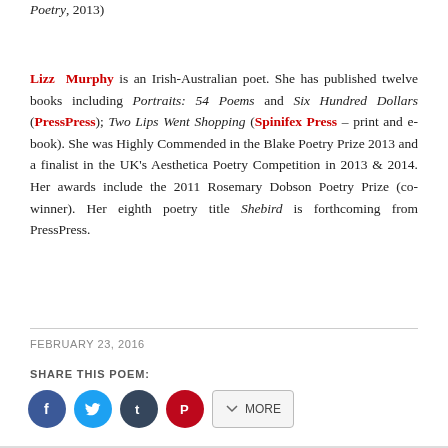Poetry, 2013)
Lizz Murphy is an Irish-Australian poet. She has published twelve books including Portraits: 54 Poems and Six Hundred Dollars (PressPress); Two Lips Went Shopping (Spinifex Press – print and e-book). She was Highly Commended in the Blake Poetry Prize 2013 and a finalist in the UK's Aesthetica Poetry Competition in 2013 & 2014. Her awards include the 2011 Rosemary Dobson Poetry Prize (co-winner). Her eighth poetry title Shebird is forthcoming from PressPress.
FEBRUARY 23, 2016
SHARE THIS POEM:
[Figure (other): Social share buttons: Facebook (blue circle), Twitter (blue circle), Tumblr (dark circle), Pinterest (red circle), and a MORE button]